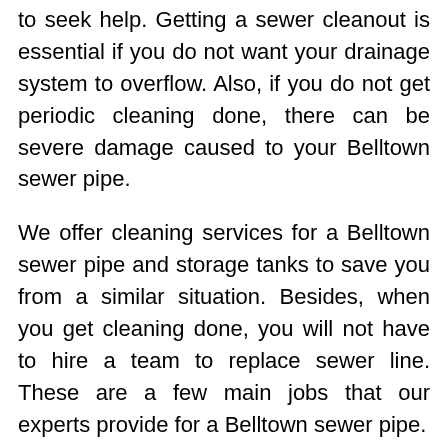to seek help. Getting a sewer cleanout is essential if you do not want your drainage system to overflow. Also, if you do not get periodic cleaning done, there can be severe damage caused to your Belltown sewer pipe.
We offer cleaning services for a Belltown sewer pipe and storage tanks to save you from a similar situation. Besides, when you get cleaning done, you will not have to hire a team to replace sewer line. These are a few main jobs that our experts provide for a Belltown sewer pipe.
Unclog sewer pipe
Reline sewer pipe
Fixing sewer pipe
Bursting sewage pipe